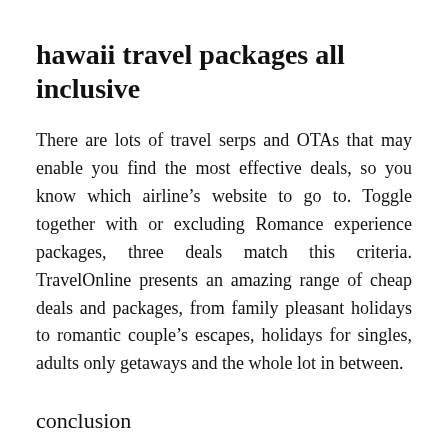hawaii travel packages all inclusive
There are lots of travel serps and OTAs that may enable you find the most effective deals, so you know which airline’s website to go to. Toggle together with or excluding Romance experience packages, three deals match this criteria. TravelOnline presents an amazing range of cheap deals and packages, from family pleasant holidays to romantic couple’s escapes, holidays for singles, adults only getaways and the whole lot in between.
conclusion